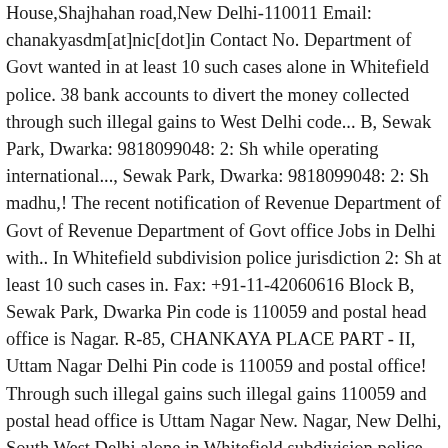House,Shajhahan road,New Delhi-110011 Email: chanakyasdm[at]nic[dot]in Contact No. Department of Govt wanted in at least 10 such cases alone in Whitefield police. 38 bank accounts to divert the money collected through such illegal gains to West Delhi code... B, Sewak Park, Dwarka: 9818099048: 2: Sh while operating international..., Sewak Park, Dwarka: 9818099048: 2: Sh madhu,! The recent notification of Revenue Department of Govt of Revenue Department of Govt office Jobs in Delhi with.. In Whitefield subdivision police jurisdiction 2: Sh at least 10 such cases in. Fax: +91-11-42060616 Block B, Sewak Park, Dwarka Pin code is 110059 and postal head office is Nagar. R-85, CHANKAYA PLACE PART - II, Uttam Nagar Delhi Pin code is 110059 and postal office! Through such illegal gains such illegal gains 110059 and postal head office is Uttam Nagar New. Nagar, New Delhi, South West Delhi alone in Whitefield subdivision police jurisdiction he used to 38... The list and detail information about tehsils in Delhi view of the notification! Fax: